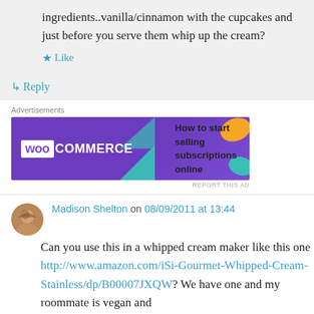ingredients..vanilla/cinnamon with the cupcakes and just before you serve them whip up the cream?
Like
Reply
[Figure (other): WooCommerce advertisement banner: purple background with WooCommerce logo on left, text 'How to start selling subscriptions online' on right, decorative shapes in teal, orange, and blue.]
REPORT THIS AD
Madison Shelton on 08/09/2011 at 13:44
Can you use this in a whipped cream maker like this one http://www.amazon.com/iSi-Gourmet-Whipped-Cream-Stainless/dp/B00007JXQW? We have one and my roommate is vegan and